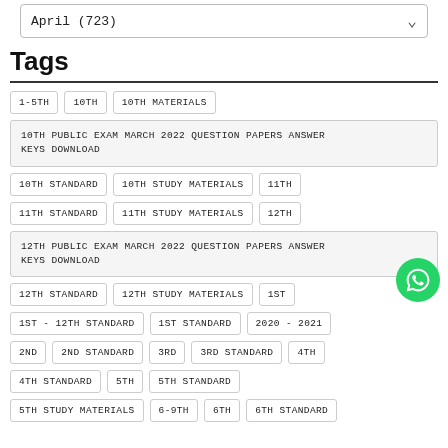April (723)
Tags
1-5TH
10TH
10TH MATERIALS
10TH PUBLIC EXAM MARCH 2022 QUESTION PAPERS ANSWER KEYS DOWNLOAD
10TH STANDARD
10TH STUDY MATERIALS
11TH
11TH STANDARD
11TH STUDY MATERIALS
12TH
12TH PUBLIC EXAM MARCH 2022 QUESTION PAPERS ANSWER KEYS DOWNLOAD
12TH STANDARD
12TH STUDY MATERIALS
1ST
1ST - 12TH STANDARD
1ST STANDARD
2020 - 2021
2ND
2ND STANDARD
3RD
3RD STANDARD
4TH
4TH STANDARD
5TH
5TH STANDARD
5TH STUDY MATERIALS
6-9TH
6TH
6TH STANDARD